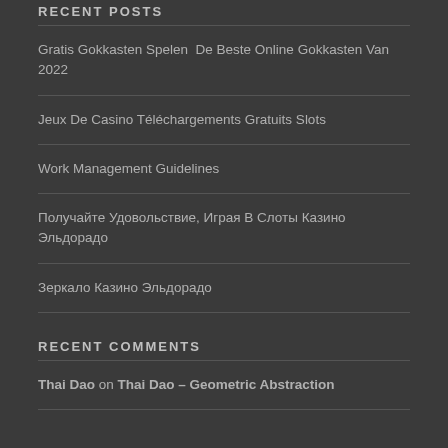RECENT POSTS
Gratis Gokkasten Spelen  De Beste Online Gokkasten Van 2022
Jeux De Casino Téléchargements Gratuits Slots
Work Management Guidelines
Получайте Удовольствие, Играя В Слоты Казино Эльдорадо
Зеркало Казино Эльдорадо
RECENT COMMENTS
Thai Dao on Thai Dao – Geometric Abstraction